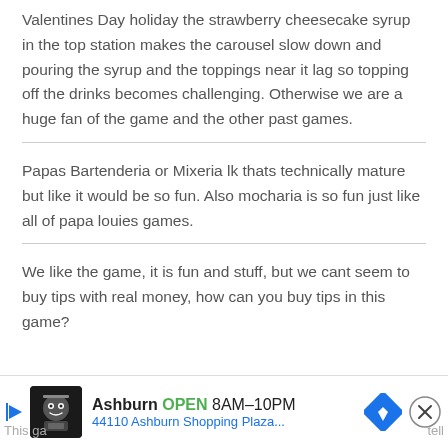Valentines Day holiday the strawberry cheesecake syrup in the top station makes the carousel slow down and pouring the syrup and the toppings near it lag so topping off the drinks becomes challenging. Otherwise we are a huge fan of the game and the other past games.
Papas Bartenderia or Mixeria lk thats technically mature but like it would be so fun. Also mocharia is so fun just like all of papa louies games.
We like the game, it is fun and stuff, but we cant seem to buy tips with real money, how can you buy tips in this game?
[Figure (infographic): Advertisement bar at bottom: Ashburn OPEN 8AM-10PM, 44110 Ashburn Shopping Plaza... with navigation icon and close button. Partial text 'This ga' on left and 'tell' on right behind the ad.]